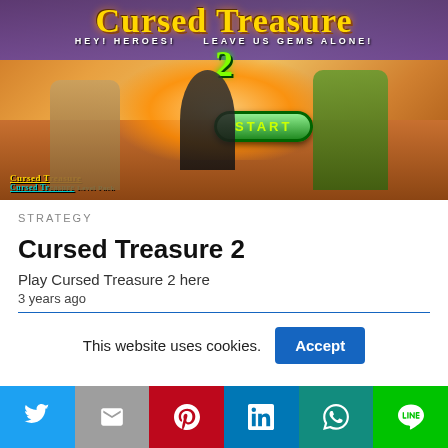[Figure (screenshot): Cursed Treasure 2 game banner/splash screen showing cartoon characters including a mummy, ninja, and druid. Large yellow stylized title text 'Cursed Treasure 2' with subtitle 'HEY! HEROES! LEAVE US GEMS ALONE!' and a green START button. Game logos in bottom-left.]
STRATEGY
Cursed Treasure 2
Play Cursed Treasure 2 here
3 years ago
This website uses cookies.
[Figure (infographic): Social media share buttons bar: Twitter (blue), Gmail (grey), Pinterest (red), LinkedIn (blue), WhatsApp (teal), Line (green)]